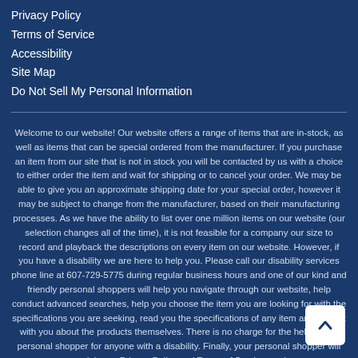Privacy Policy
Terms of Service
Accessibility
Site Map
Do Not Sell My Personal Information
Welcome to our website! Our website offers a range of items that are in-stock, as well as items that can be special ordered from the manufacturer. If you purchase an item from our site that is not in stock you will be contacted by us with a choice to either order the item and wait for shipping or to cancel your order. We may be able to give you an approximate shipping date for your special order, however it may be subject to change from the manufacturer, based on their manufacturing processes. As we have the ability to list over one million items on our website (our selection changes all of the time), it is not feasible for a company our size to record and playback the descriptions on every item on our website. However, if you have a disability we are here to help you. Please call our disability services phone line at 607-729-5775 during regular business hours and one of our kind and friendly personal shoppers will help you navigate through our website, help conduct advanced searches, help you choose the item you are looking for with the specifications you are seeking, read you the specifications of any item and consult with you about the products themselves. There is no charge for the help of this personal shopper for anyone with a disability. Finally, your personal shopper will explain our Privacy Policy and Terms of Service, and